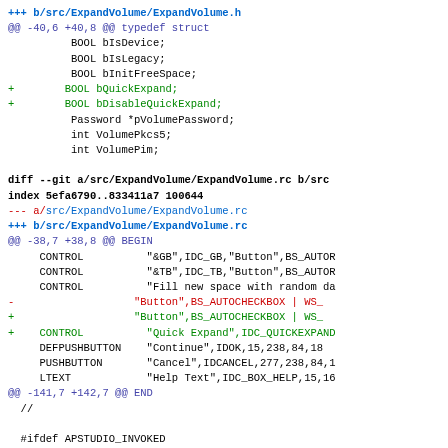Git diff code snippet showing changes to ExpandVolume.h and ExpandVolume.rc files, with additions of BOOL bQuickExpand, BOOL bDisableQuickExpand fields and Quick Expand control.